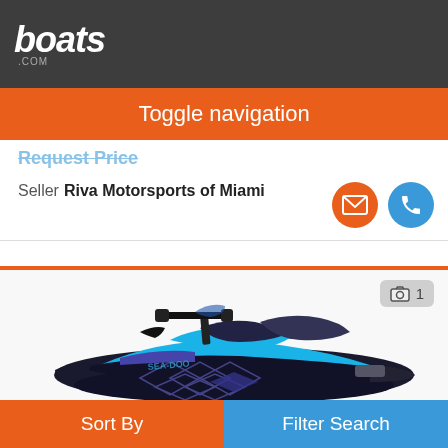boats.com
Toggle navigation
Request Price
Seller Riva Motorsports of Miami
[Figure (photo): Sea-Doo jet ski / personal watercraft, black and blue color scheme, displayed on white background with photo count badge showing 1]
Sort By
Filter Search